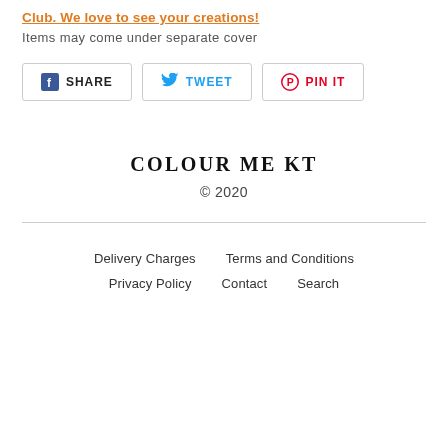Club. We love to see your creations!
Items may come under separate cover
[Figure (other): Social sharing buttons: SHARE (Facebook), TWEET (Twitter), PIN IT (Pinterest)]
COLOUR ME KT
© 2020
Delivery Charges   Terms and Conditions   Privacy Policy   Contact   Search